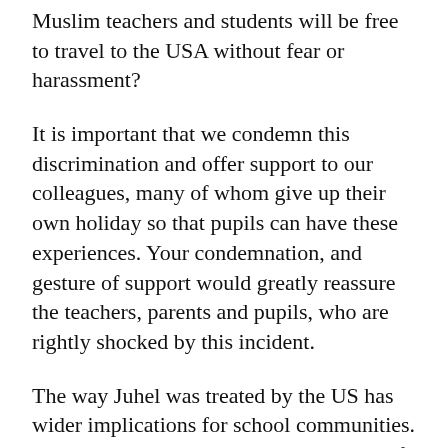Muslim teachers and students will be free to travel to the USA without fear or harassment?
It is important that we condemn this discrimination and offer support to our colleagues, many of whom give up their own holiday so that pupils can have these experiences. Your condemnation, and gesture of support would greatly reassure the teachers, parents and pupils, who are rightly shocked by this incident.
The way Juhel was treated by the US has wider implications for school communities. Should we be planning educational trips if staff are refused entry solely due to their country of birth or choice of religion?